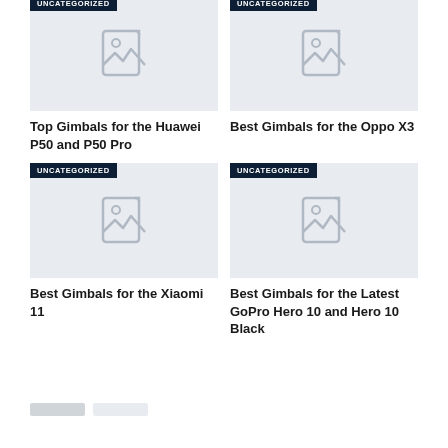[Figure (illustration): Placeholder image icon for Huawei P50 article, with UNCATEGORIZED category bar at top]
Top Gimbals for the Huawei P50 and P50 Pro
[Figure (illustration): Placeholder image icon for Oppo X3 article, with UNCATEGORIZED category bar at top]
Best Gimbals for the Oppo X3
[Figure (illustration): Placeholder image icon for Xiaomi 11 article, with UNCATEGORIZED category bar at top]
Best Gimbals for the Xiaomi 11
[Figure (illustration): Placeholder image icon for GoPro Hero 10 article, with UNCATEGORIZED category bar at top]
Best Gimbals for the Latest GoPro Hero 10 and Hero 10 Black